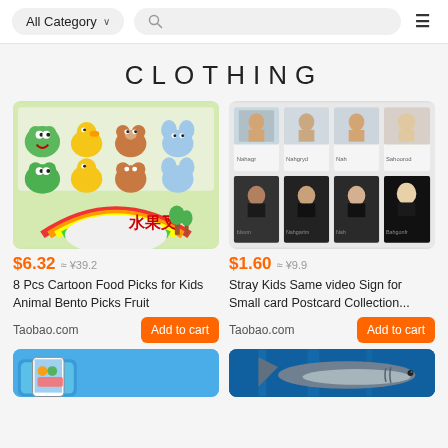All Category | Search | Menu
CLOTHING
[Figure (photo): Cartoon animal food picks/bento picks with rainbow and Chinese text 水果叉]
$6.32 ≈ ¥39.2
8 Pcs Cartoon Food Picks for Kids Animal Bento Picks Fruit
Taobao.com
Add to cart
[Figure (photo): Stray Kids photo cards grid showing 8 member photos in black and white t-shirts]
$1.60 ≈ ¥9.9
Stray Kids Same video Sign for Small card Postcard Collection...
Taobao.com
Add to cart
[Figure (photo): Partial view of a phone case with cartoon design (bottom left)]
[Figure (photo): Partial view of a shark underwater (bottom right)]